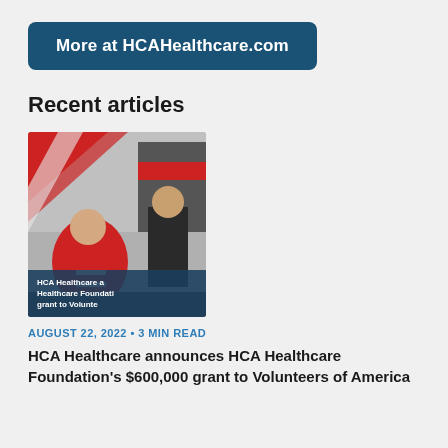More at HCAHealthcare.com
Recent articles
[Figure (photo): Two emergency medical workers in red uniforms working near an ambulance. An overlay text reads: HCA Healthcare a Healthcare Foundati grant to Volunte]
AUGUST 22, 2022 • 3 MIN READ
HCA Healthcare announces HCA Healthcare Foundation's $600,000 grant to Volunteers of America